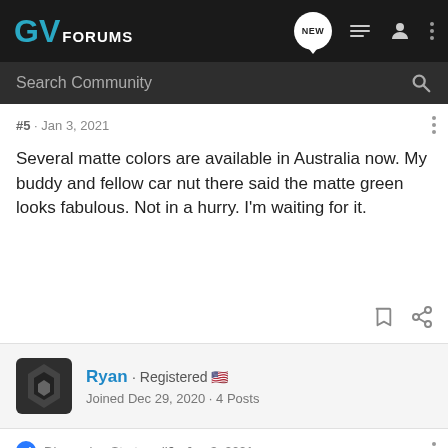GV FORUMS
Search Community
#5 · Jan 3, 2021
Several matte colors are available in Australia now. My buddy and fellow car nut there said the matte green looks fabulous. Not in a hurry. I'm waiting for it.
Ryan · Registered
Joined Dec 29, 2020 · 4 Posts
Discussion Starter · #6 · Jan 3, 2021